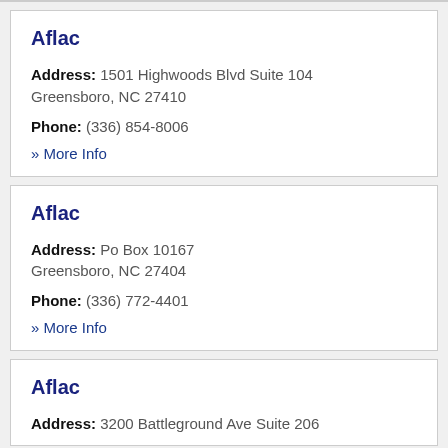Aflac
Address: 1501 Highwoods Blvd Suite 104 Greensboro, NC 27410
Phone: (336) 854-8006
» More Info
Aflac
Address: Po Box 10167 Greensboro, NC 27404
Phone: (336) 772-4401
» More Info
Aflac
Address: 3200 Battleground Ave Suite 206